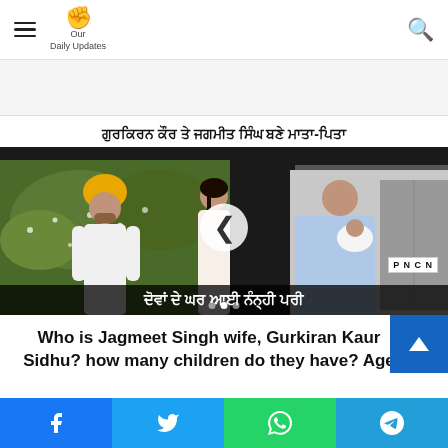Our Daily Updates
[Figure (photo): Slideshow image showing Jagmeet Singh and Gurkiran Kaur Sidhu with a baby, with Punjabi text headline. PNCN watermark visible.]
Who is Jagmeet Singh wife, Gurkiran Kaur Sidhu? how many children do they have? Age
[Figure (infographic): Share bar at the bottom with Facebook, Twitter, WhatsApp, and Telegram buttons]